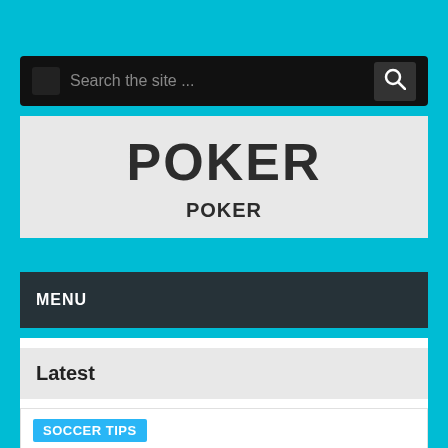[Figure (screenshot): Search bar with black background and magnifying glass icon, placeholder text 'Search the site ...']
POKER
POKER
MENU
Latest
SOCCER TIPS
Danaslot888 Hyperlink Situs Judi Slot Habanero Bet Rendah